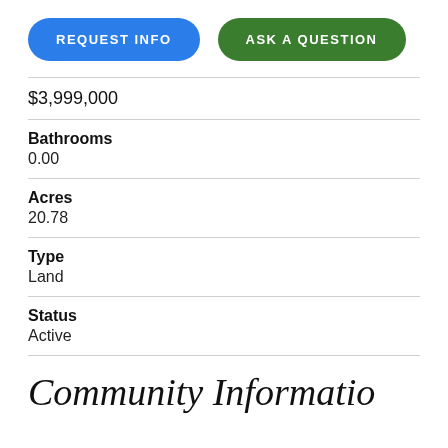REQUEST INFO
ASK A QUESTION
$3,999,000
Bathrooms
0.00
Acres
20.78
Type
Land
Status
Active
Community Information